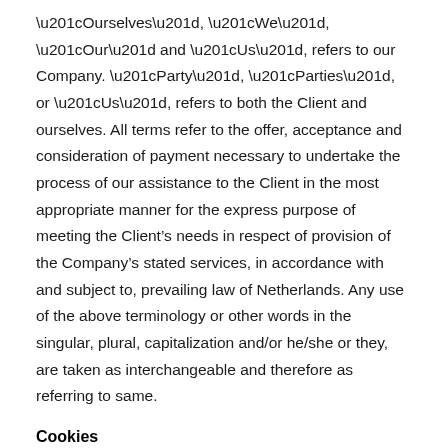“Ourselves”, “We”, “Our” and “Us”, refers to our Company. “Party”, “Parties”, or “Us”, refers to both the Client and ourselves. All terms refer to the offer, acceptance and consideration of payment necessary to undertake the process of our assistance to the Client in the most appropriate manner for the express purpose of meeting the Client’s needs in respect of provision of the Company’s stated services, in accordance with and subject to, prevailing law of Netherlands. Any use of the above terminology or other words in the singular, plural, capitalization and/or he/she or they, are taken as interchangeable and therefore as referring to same.
Cookies
We employ the use of cookies. By accessing this site, you agreed to use cookies in agreement with the